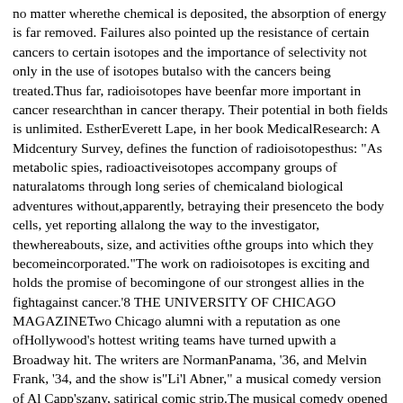no matter wherethe chemical is deposited, the absorption of energy is far removed. Failures also pointed up the resistance of certain cancers to certain isotopes and the importance of selectivity not only in the use of isotopes butalso with the cancers being treated.Thus far, radioisotopes have beenfar more important in cancer researchthan in cancer therapy. Their potential in both fields is unlimited. EstherEverett Lape, in her book MedicalResearch: A Midcentury Survey, defines the function of radioisotopesthus: "As metabolic spies, radioactiveisotopes accompany groups of naturalatoms through long series of chemicaland biological adventures without,apparently, betraying their presenceto the body cells, yet reporting allalong the way to the investigator, thewhereabouts, size, and activities ofthe groups into which they becomeincorporated."The work on radioisotopes is exciting and holds the promise of becomingone of our strongest allies in the fightagainst cancer.'8 THE UNIVERSITY OF CHICAGO MAGAZINETwo Chicago alumni with a reputation as one ofHollywood's hottest writing teams have turned upwith a Broadway hit. The writers are NormanPanama, '36, and Melvin Frank, '34, and the show is"Li'l Abner," a musical comedy version of Al Capp'szany, satirical comic strip.The musical comedy opened November 15 at the St.James Theatre in New York, and has since earned itsshare of applause from New York audiences and criticsalike. Four of the top seven aisle-sitters went all out forthe musical; all had words of praise.The writers met as undergraduates.